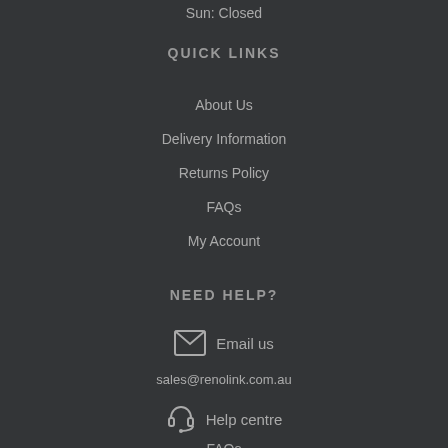Sun: Closed
QUICK LINKS
About Us
Delivery Information
Returns Policy
FAQs
My Account
NEED HELP?
Email us
sales@renolink.com.au
Help centre
FAQs